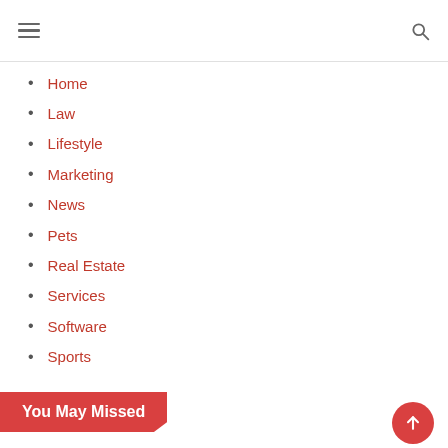Navigation menu with hamburger icon and search icon
Home
Law
Lifestyle
Marketing
News
Pets
Real Estate
Services
Software
Sports
Technology
Travel
Uncategorized
web development and services
You May Missed